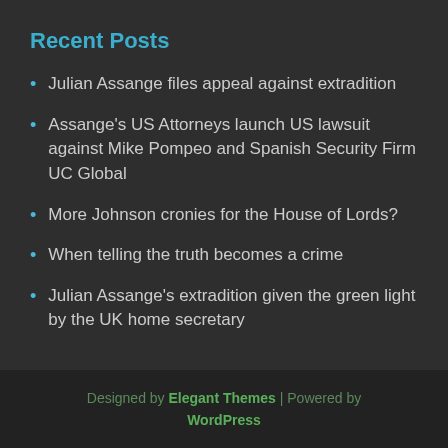Recent Posts
Julian Assange files appeal against extradition
Assange's US Attorneys launch US lawsuit against Mike Pompeo and Spanish Security Firm UC Global
More Johnson cronies for the House of Lords?
When telling the truth becomes a crime
Julian Assange's extradition given the green light by the UK home secretary
Designed by Elegant Themes | Powered by WordPress